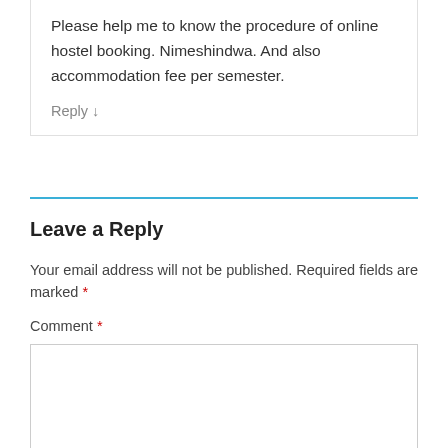Please help me to know the procedure of online hostel booking. Nimeshindwa. And also accommodation fee per semester.
Reply ↓
Leave a Reply
Your email address will not be published. Required fields are marked *
Comment *